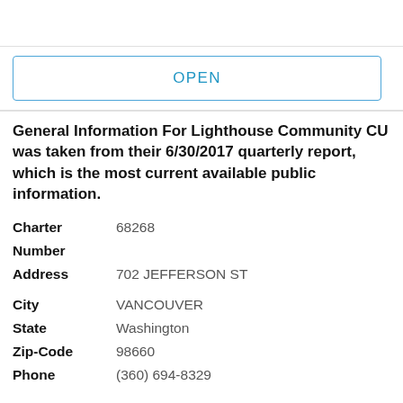[Figure (other): Top bar with partial logo/icon visible]
OPEN
General Information For Lighthouse Community CU was taken from their 6/30/2017 quarterly report, which is the most current available public information.
| Charter Number | 68268 |
| Address | 702 JEFFERSON ST |
| City | VANCOUVER |
| State | Washington |
| Zip-Code | 98660 |
| Phone | (360) 694-8329 |